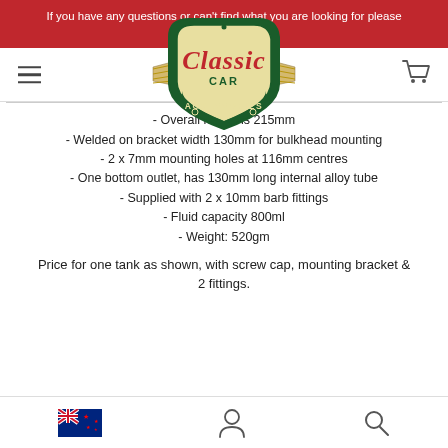If you have any questions or can't find what you are looking for please contact us.
[Figure (logo): Classic Car Accessories logo — shield shape with dark green border, cream background, red cursive 'Classic' text, dark green 'CAR ACCESSORIES' text, with decorative wing elements on sides]
- Overall height is 215mm
- Welded on bracket width 130mm for bulkhead mounting
- 2 x 7mm mounting holes at 116mm centres
- One bottom outlet, has 130mm long internal alloy tube
- Supplied with 2 x 10mm barb fittings
- Fluid capacity 800ml
- Weight: 520gm
Price for one tank as shown, with screw cap, mounting bracket & 2 fittings.
[NZ flag icon] [User icon] [Search icon]